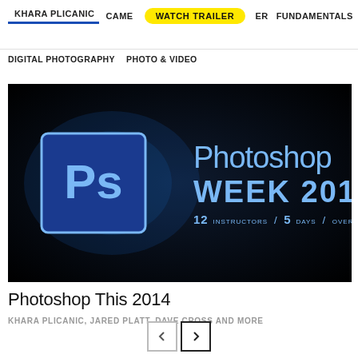KHARA PLICANIC  CAMERA  WATCH TRAILER  ER  FUNDAMENTALS  POR
DIGITAL PHOTOGRAPHY  PHOTO & VIDEO
[Figure (screenshot): Photoshop Week 2014 promotional banner on dark background with Ps logo, title 'Photoshop WEEK 2014', and subtitle '12 INSTRUCTORS / 5 DAYS / OVER 30 CLASSES']
Photoshop This 2014
KHARA PLICANIC, JARED PLATT, DAVE CROSS AND MORE